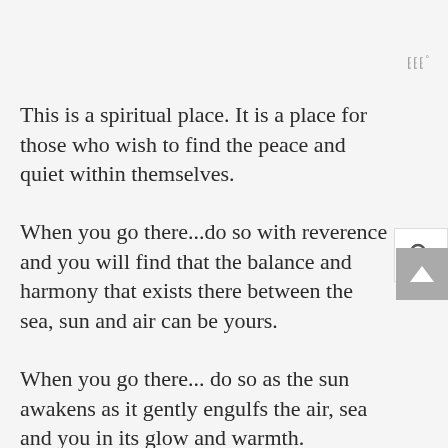This is a spiritual place. It is a place for those who wish to find the peace and quiet within themselves.
When you go there...do so with reverence and you will find that the balance and harmony that exists there between the sea, sun and air can be yours.
When you go there... do so as the sun awakens as it gently engulfs the air, sea and you in its glow and warmth.
When you go there...pay homage to the creations of both nature and those who left their footprints in the sand before.